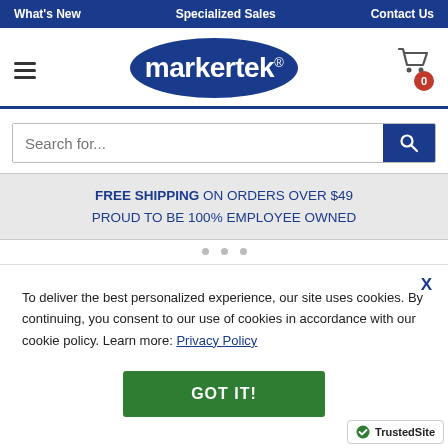What's New | Specialized Sales | Contact Us
[Figure (logo): Markertek logo — white text on blue oval, hamburger menu left, cart icon right with badge showing 0]
Search for...
FREE SHIPPING ON ORDERS OVER $49
PROUD TO BE 100% EMPLOYEE OWNED
To deliver the best personalized experience, our site uses cookies. By continuing, you consent to our use of cookies in accordance with our cookie policy. Learn more: Privacy Policy
GOT IT!
[Figure (logo): TrustedSite badge with green checkmark in bottom right corner]